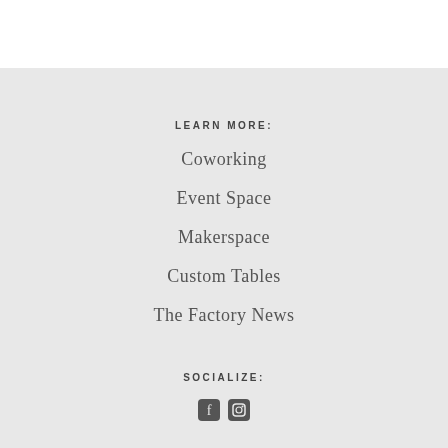LEARN MORE:
Coworking
Event Space
Makerspace
Custom Tables
The Factory News
SOCIALIZE:
[Figure (illustration): Social media icons (Facebook and Instagram)]